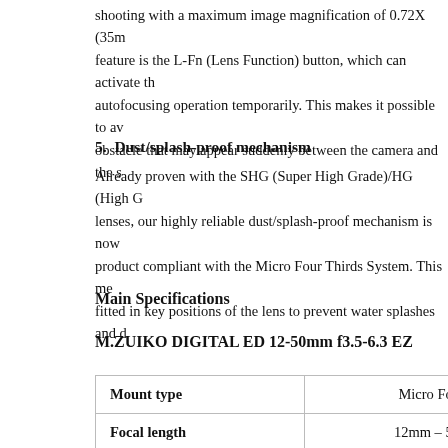shooting with a maximum image magnification of 0.72X (35mm feature is the L-Fn (Lens Function) button, which can activate the autofocusing operation temporarily. This makes it possible to avoid any obstacle that may appear suddenly between the camera and the s
5.  Dust/splash-proof mechanism
Already proven with the SHG (Super High Grade)/HG (High G lenses, our highly reliable dust/splash-proof mechanism is now product compliant with the Micro Four Thirds System. This me fitted in key positions of the lens to prevent water splashes and d
Main Specifications
M.ZUIKO DIGITAL ED 12-50mm f3.5-6.3 EZ
|  |  |
| --- | --- |
| Mount type | Micro Fou |
| Focal length | 12mm – 50 |
| 35mm equivalent | 24mm – 10 |